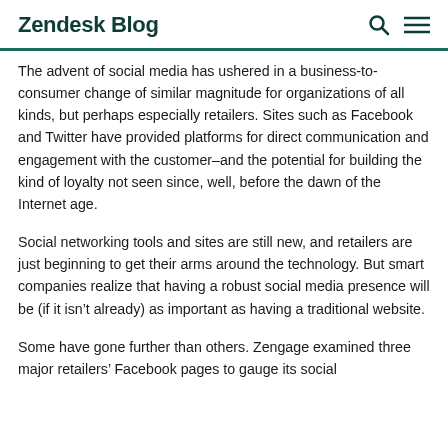Zendesk Blog
The advent of social media has ushered in a business-to-consumer change of similar magnitude for organizations of all kinds, but perhaps especially retailers. Sites such as Facebook and Twitter have provided platforms for direct communication and engagement with the customer–and the potential for building the kind of loyalty not seen since, well, before the dawn of the Internet age.
Social networking tools and sites are still new, and retailers are just beginning to get their arms around the technology. But smart companies realize that having a robust social media presence will be (if it isn’t already) as important as having a traditional website.
Some have gone further than others. Zengage examined three major retailers’ Facebook pages to gauge its social